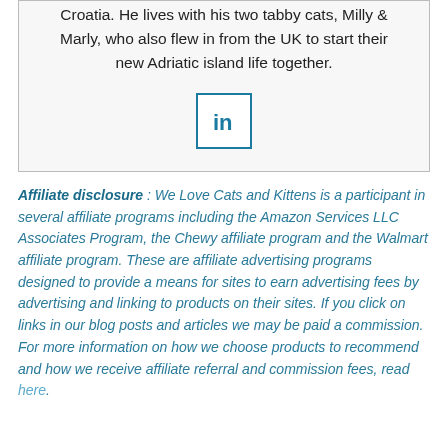Croatia. He lives with his two tabby cats, Milly & Marly, who also flew in from the UK to start their new Adriatic island life together.
[Figure (logo): LinkedIn logo icon in a teal-bordered square box]
Affiliate disclosure : We Love Cats and Kittens is a participant in several affiliate programs including the Amazon Services LLC Associates Program, the Chewy affiliate program and the Walmart affiliate program. These are affiliate advertising programs designed to provide a means for sites to earn advertising fees by advertising and linking to products on their sites. If you click on links in our blog posts and articles we may be paid a commission. For more information on how we choose products to recommend and how we receive affiliate referral and commission fees, read here.